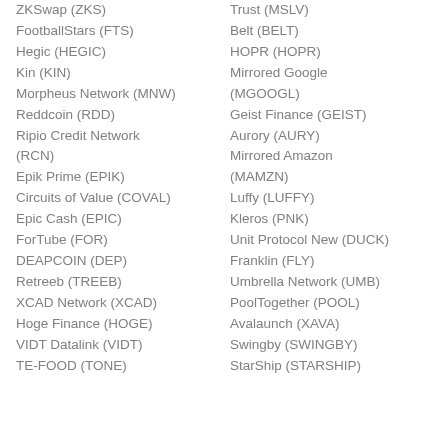ZKSwap (ZKS)
FootballStars (FTS)
Hegic (HEGIC)
Kin (KIN)
Morpheus Network (MNW)
Reddcoin (RDD)
Ripio Credit Network (RCN)
Epik Prime (EPIK)
Circuits of Value (COVAL)
Epic Cash (EPIC)
ForTube (FOR)
DEAPCOIN (DEP)
Retreeb (TREEB)
XCAD Network (XCAD)
Hoge Finance (HOGE)
VIDT Datalink (VIDT)
TE-FOOD (TONE)
Trust (MSLV)
Belt (BELT)
HOPR (HOPR)
Mirrored Google (MGOOGL)
Geist Finance (GEIST)
Aurory (AURY)
Mirrored Amazon (MAMZN)
Luffy (LUFFY)
Kleros (PNK)
Unit Protocol New (DUCK)
Franklin (FLY)
Umbrella Network (UMB)
PoolTogether (POOL)
Avalaunch (XAVA)
Swingby (SWINGBY)
StarShip (STARSHIP)